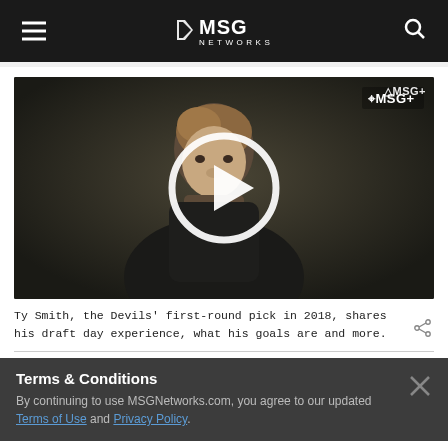MSG Networks
[Figure (screenshot): Video thumbnail of Ty Smith, a young man in a black hoodie against a dark background, with a white circular play button overlay and MSG+ logo in top right corner]
Ty Smith, the Devils' first-round pick in 2018, shares his draft day experience, what his goals are and more.
Terms & Conditions
By continuing to use MSGNetworks.com, you agree to our updated Terms of Use and Privacy Policy.